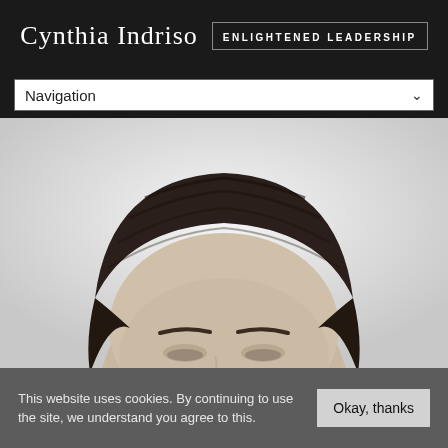Cynthia Indriso ENLIGHTENED LEADERSHIP
Navigation
[Figure (photo): Black and white close-up photo of a person's face, showing the top half including hair, forehead, and eyes, cropped at the bottom.]
This website uses cookies. By continuing to use the site, we understand you agree to this.